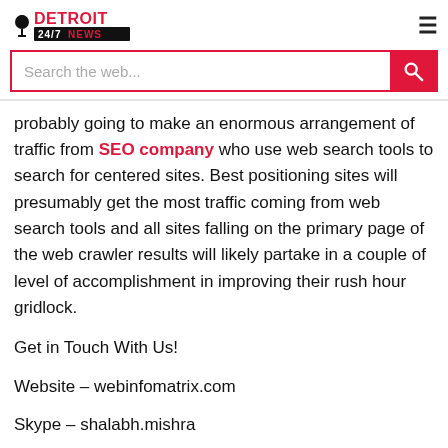DETROIT 24/7 NEWS
probably going to make an enormous arrangement of traffic from SEO company who use web search tools to search for centered sites. Best positioning sites will presumably get the most traffic coming from web search tools and all sites falling on the primary page of the web crawler results will likely partake in a couple of level of accomplishment in improving their rush hour gridlock.
Get in Touch With Us!
Website – webinfomatrix.com
Skype – shalabh.mishra
Telegram – shalabhmishra